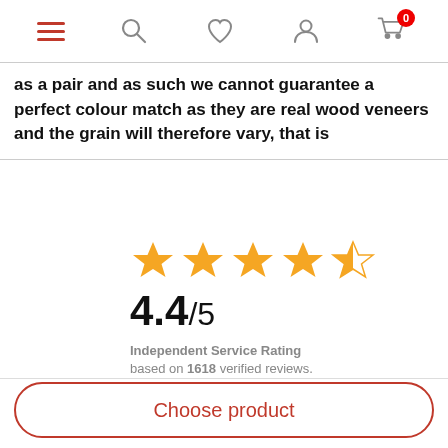Navigation bar with hamburger menu, search, wishlist, user, and cart (0) icons
as a pair and as such we cannot guarantee a perfect colour match as they are real wood veneers and the grain will therefore vary, that is
[Figure (infographic): 4.4 out of 5 star rating with four full gold stars and one half gold star. Text: 4.4/5. Independent Service Rating based on 1618 verified reviews.]
Total Price
£0.00
Choose product